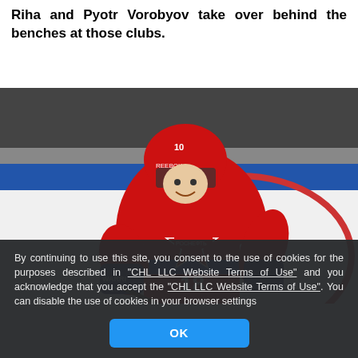Riha and Pyotr Vorobyov take over behind the benches at those clubs.
[Figure (photo): Ice hockey player wearing red jersey with number 18 and a red star emblem, holding a hockey stick, wearing red helmet and dark gloves. Blue dasherboards visible in background.]
By continuing to use this site, you consent to the use of cookies for the purposes described in "CHL LLC Website Terms of Use" and you acknowledge that you accept the "CHL LLC Website Terms of Use". You can disable the use of cookies in your browser settings